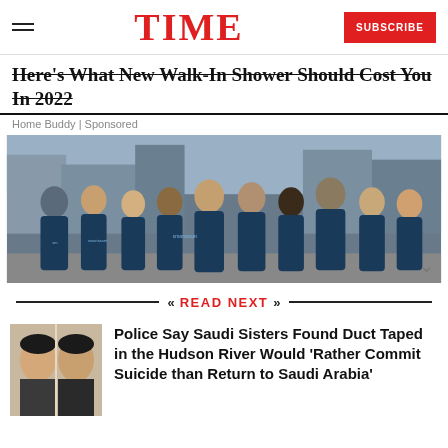TIME | SUBSCRIBE
Here's What New Walk-In Shower Should Cost You In 2022
Home Buddy | Sponsored
[Figure (photo): Group photo of about 12 people wearing dark blue SmartAsset branded t-shirts standing on a city street in New York.]
READ NEXT
[Figure (photo): Thumbnail photo showing two young women, appearing to be mugshot-style photos side by side.]
Police Say Saudi Sisters Found Duct Taped in the Hudson River Would 'Rather Commit Suicide than Return to Saudi Arabia'